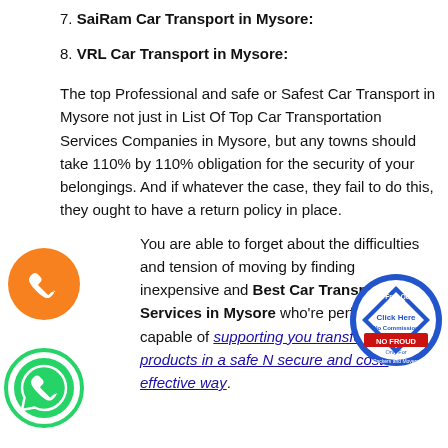7. SaiRam Car Transport in Mysore:
8. VRL Car Transport in Mysore:
The top Professional and safe or Safest Car Transport in Mysore not just in List Of Top Car Transportation Services Companies in Mysore, but any towns should take 110% by 110% obligation for the security of your belongings. And if whatever the case, they fail to do this, they ought to have a return policy in place.
You are able to forget about the difficulties and tension of moving by finding inexpensive and Best Car Transportation Services in Mysore who're perfectly capable of supporting you transfer your the products in a safe N secure and cost-effective way.
[Figure (logo): Orange circle badge with phone icon]
[Figure (logo): Green WhatsApp circle badge with phone icon]
[Figure (logo): Blue circular stamp: Get Free Quote Click Here No Commission NO FROUD Only For Packers and Movers]